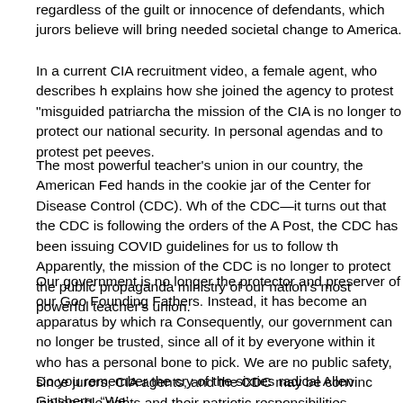regardless of the guilt or innocence of defendants, which jurors believe will bring needed societal change to America.
In a current CIA recruitment video, a female agent, who describes h explains how she joined the agency to protest "misguided patriarcha the mission of the CIA is no longer to protect our national security. In personal agendas and to protest pet peeves.
The most powerful teacher's union in our country, the American Fed hands in the cookie jar of the Center for Disease Control (CDC). Wh of the CDC—it turns out that the CDC is following the orders of the A Post, the CDC has been issuing COVID guidelines for us to follow th Apparently, the mission of the CDC is no longer to protect the public propaganda ministry of our nation's most powerful teacher's union.
Our government is no longer the protector and preserver of our Goo Founding Fathers. Instead, it has become an apparatus by which ra Consequently, our government can no longer be trusted, since all of it by everyone within it who has a personal bone to pick. We are no public safety, since jurors, CIA agents, and the CDC may be convinc inalienable rights and their patriotic responsibilities.
Do you remember the cry of the sixties radical Allen Ginsberg, “We’ fantasies of political revolution faded in a God-fearing America, unlik to what they called “the long march through the institutions.” They d infiltrating its established institutions over time. By doing so, they sc government, as well as others, like our institutions of higher learning promoting their radical socialist agenda. Well, unbeknownst to most they finished their long march, the major institutions have been